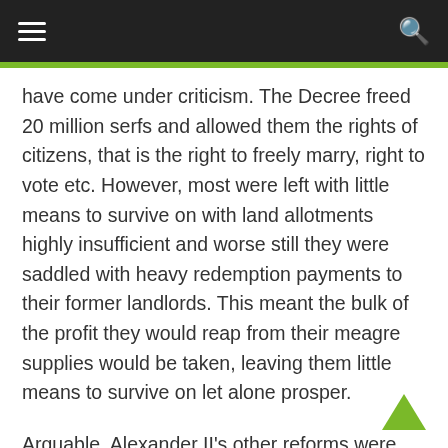☰   🔍
have come under criticism. The Decree freed 20 million serfs and allowed them the rights of citizens, that is the right to freely marry, right to vote etc. However, most were left with little means to survive on with land allotments highly insufficient and worse still they were saddled with heavy redemption payments to their former landlords. This meant the bulk of the profit they would reap from their meagre supplies would be taken, leaving them little means to survive on let alone prosper.
Arguable, Alexander II's other reforms were more successful. The military reforms, considered a priority after the Crimean War, saw the Russian Empire's army completely revitalised. Rather than limited to the the peasantry, compulsory